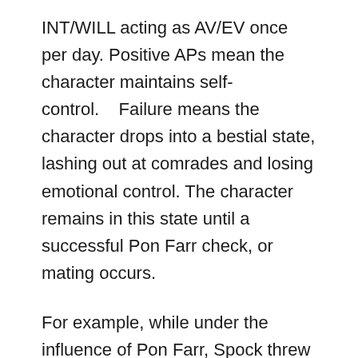INT/WILL acting as AV/EV once per day. Positive APs mean the character maintains self-control.    Failure means the character drops into a bestial state, lashing out at comrades and losing emotional control. The character remains in this state until a successful Pon Farr check, or mating occurs.
For example, while under the influence of Pon Farr, Spock threw a bowl of soup at Nurse Chapel, sulked in his quarters for days, disobeyed direct orders by directing the Enterprise to Vulcan, and (apparently) murdered Captain Kirk in trial-by-combat.